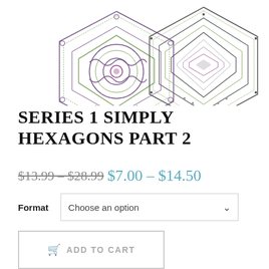[Figure (illustration): Two decorative embroidered hexagon designs side by side. Left hexagon has green and purple floral mandala pattern. Right hexagon has concentric geometric bands in green and purple tones.]
SERIES 1 SIMPLY HEXAGONS PART 2
$13.99 – $28.99 $7.00 - $14.50
Format  Choose an option
ADD TO CART